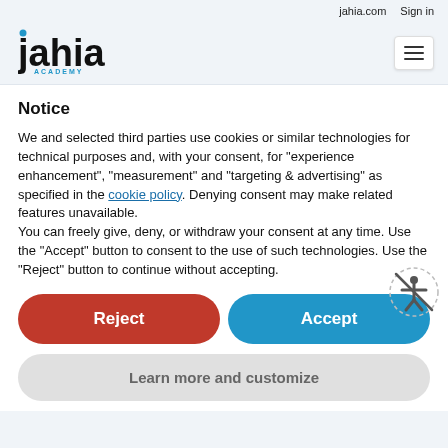jahia.com   Sign in
[Figure (logo): Jahia Academy logo with stylized text and blue dot on j]
Notice
We and selected third parties use cookies or similar technologies for technical purposes and, with your consent, for “experience enhancement”, “measurement” and “targeting & advertising” as specified in the cookie policy. Denying consent may make related features unavailable.
You can freely give, deny, or withdraw your consent at any time. Use the “Accept” button to consent to the use of such technologies. Use the “Reject” button to continue without accepting.